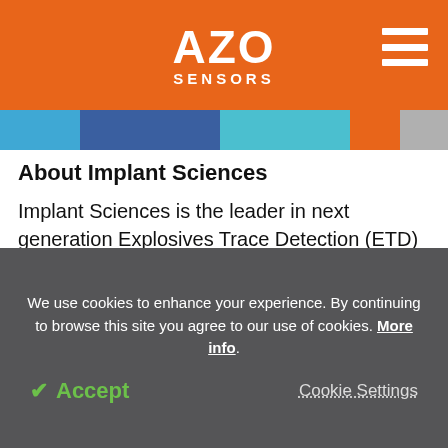AZO SENSORS
About Implant Sciences
Implant Sciences is the leader in next generation Explosives Trace Detection (ETD) technology. The Company is the third ETD manufacturer, and the sole American-owned company, to currently have product qualification from the US Transportation Security Administration. Implant Sciences has developed
We use cookies to enhance your experience. By continuing to browse this site you agree to our use of cookies. More info.
Accept  Cookie Settings